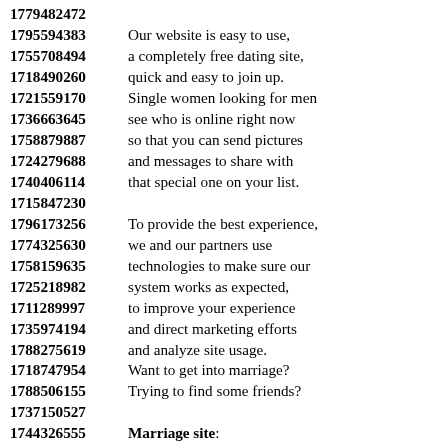1779482472
1795594383 Our website is easy to use,
1755708494 a completely free dating site,
1718490260 quick and easy to join up.
1721559170 Single women looking for men
1736663645 see who is online right now
1758879887 so that you can send pictures
1724279688 and messages to share with
1740406114 that special one on your list.
1715847230
1796173256 To provide the best experience,
1774325630 we and our partners use
1758159635 technologies to make sure our
1725218982 system works as expected,
1711289997 to improve your experience
1735974194 and direct marketing efforts
1788275619 and analyze site usage.
1718747954 Want to get into marriage?
1788506155 Trying to find some friends?
1737150527
1744326555 Marriage site:
1788732959 You will have conversations
1774383783 that are synchronized with
1748406436 beautiful single women and
1789813380 very handsome young men.